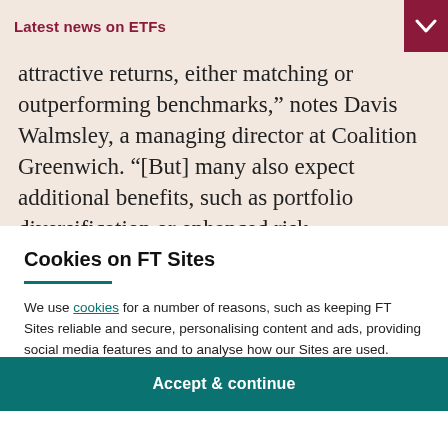Latest news on ETFs
attractive returns, either matching or outperforming benchmarks,” notes Davis Walmsley, a managing director at Coalition Greenwich. “[But] many also expect additional benefits, such as portfolio diversification or enhanced risk management.”
Cookies on FT Sites
We use cookies for a number of reasons, such as keeping FT Sites reliable and secure, personalising content and ads, providing social media features and to analyse how our Sites are used.
Manage cookies
Accept & continue